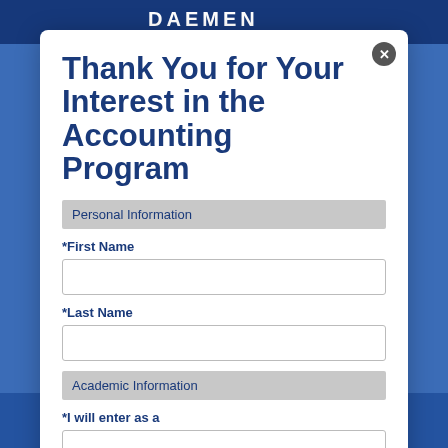DAEMEN
Thank You for Your Interest in the Accounting Program
Personal Information
*First Name
*Last Name
Academic Information
*I will enter as a
APPLY TO DAEMEN »